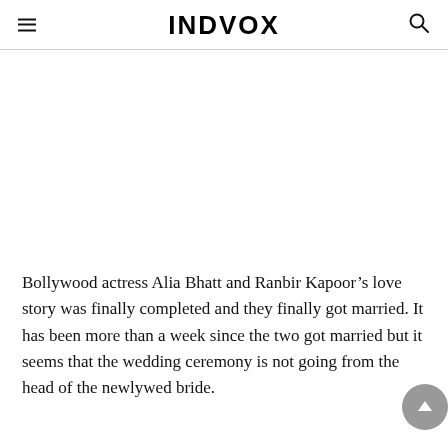INDVOX
[Figure (photo): Large image placeholder (white space) below the navigation header]
Bollywood actress Alia Bhatt and Ranbir Kapoor’s love story was finally completed and they finally got married. It has been more than a week since the two got married but it seems that the wedding ceremony is not going from the head of the newlywed bride.